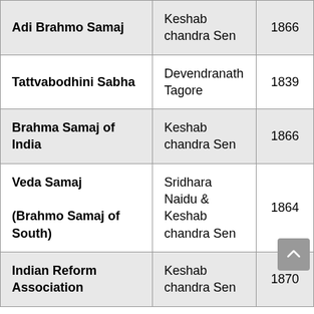| Adi Brahmo Samaj | Keshab chandra Sen | 1866 |
| Tattvabodhini Sabha | Devendranath Tagore | 1839 |
| Brahma Samaj of India | Keshab chandra Sen | 1866 |
| Veda Samaj

(Brahmo Samaj of South) | Sridhara Naidu &
Keshab chandra Sen | 1864 |
| Indian Reform Association | Keshab chandra Sen | 1870 |